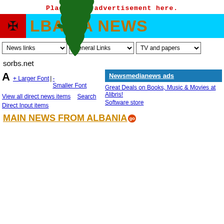Place your advertisement here.
[Figure (other): Albania country map (green silhouette) overlaid on cyan header bar with Albanian flag (red with black eagle) and site title 'ALBANIA NEWS']
News links | General Links | TV and papers (dropdown selectors)
sorbs.net
A  + Larger Font | - Smaller Font
View all direct news items   Search Direct Input items
Newsmedianews ads
Great Deals on Books, Music & Movies at Alibris!
Software store
MAIN NEWS FROM ALBANIA